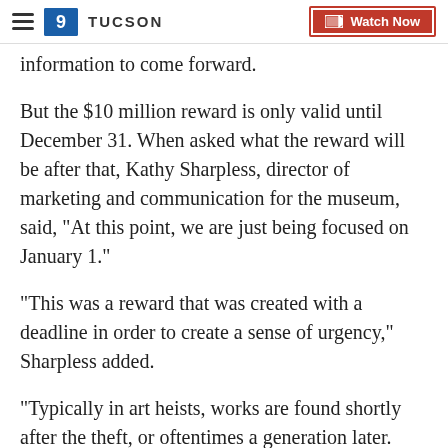9 TUCSON | Watch Now
information to come forward.
But the $10 million reward is only valid until December 31. When asked what the reward will be after that, Kathy Sharpless, director of marketing and communication for the museum, said, "At this point, we are just being focused on January 1."
"This was a reward that was created with a deadline in order to create a sense of urgency," Sharpless added.
"Typically in art heists, works are found shortly after the theft, or oftentimes a generation later. Unfortunately, we are a generation later."